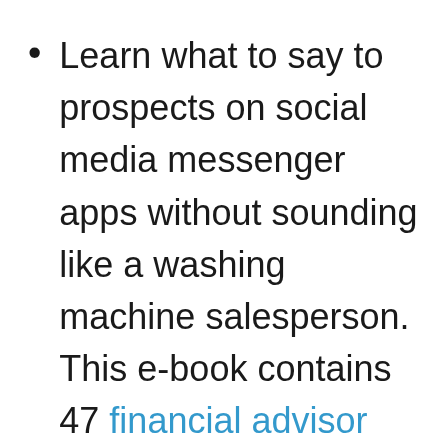Learn what to say to prospects on social media messenger apps without sounding like a washing machine salesperson. This e-book contains 47 financial advisor LinkedIn messages, sequences, and scripts, and they are all two sentences or less.
If you want a financial